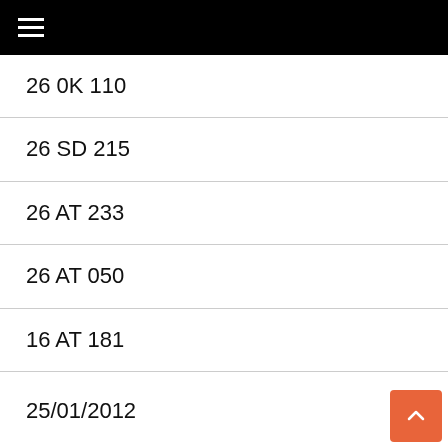☰
26 0K 110
26 SD 215
26 AT 233
26 AT 050
16 AT 181
25/01/2012
3 AT 225
30 RC 234